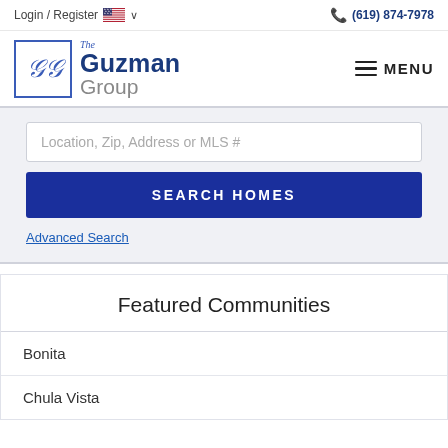Login / Register  (619) 874-7978
[Figure (logo): The Guzman Group logo with stylized GG monogram in blue box and brand name]
MENU
Location, Zip, Address or MLS #
SEARCH HOMES
Advanced Search
Featured Communities
Bonita
Chula Vista